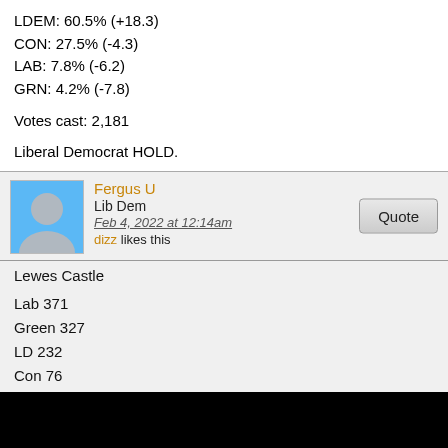LDEM: 60.5% (+18.3)
CON: 27.5% (-4.3)
LAB: 7.8% (-6.2)
GRN: 4.2% (-7.8)
Votes cast: 2,181
Liberal Democrat HOLD.
Fergus U
Lib Dem
Feb 4, 2022 at 12:14am
dizz likes this
Lewes Castle

Lab 371
Green 327
LD 232
Con 76
iain
Lib Dem
Feb 4, 2022 at 12:16am